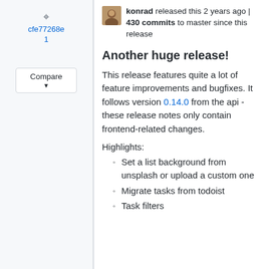cfe77268e 1
Compare
konrad released this 2 years ago | 430 commits to master since this release
Another huge release!
This release features quite a lot of feature improvements and bugfixes. It follows version 0.14.0 from the api - these release notes only contain frontend-related changes.
Highlights:
Set a list background from unsplash or upload a custom one
Migrate tasks from todoist
Task filters